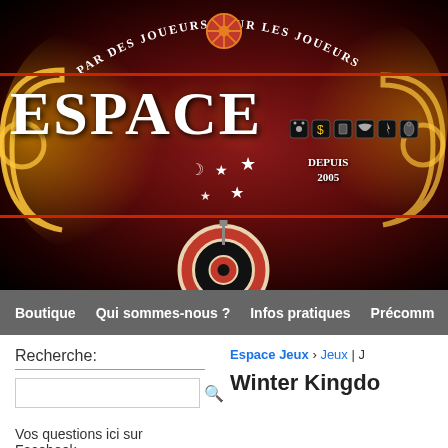[Figure (photo): Espace Jeux store banner/sign with red and black ornate background. Text reads 'PAR DES JOUEURS POUR LES JOUEURS' in an arc, 'ESPACE' in large white letters, 'DEPUIS 2005', and various board game icons including dice, cards, and meeples. Decorative golden scroll elements on sides with a target/wheel symbol at bottom center.]
Boutique | Qui sommes-nous ? | Infos pratiques | Précomm
Recherche:
Espace Jeux › Jeux | J
Winter Kingdo
Vos questions ici sur Facebook